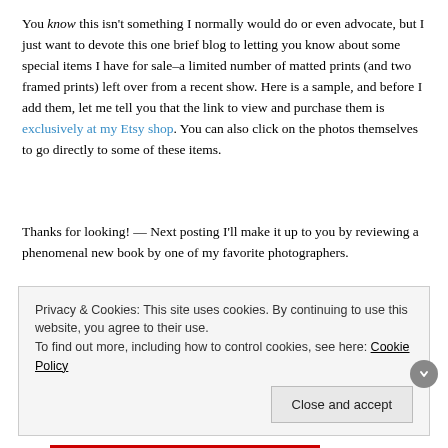You know this isn't something I normally would do or even advocate, but I just want to devote this one brief blog to letting you know about some special items I have for sale–a limited number of matted prints (and two framed prints) left over from a recent show. Here is a sample, and before I add them, let me tell you that the link to view and purchase them is exclusively at my Etsy shop. You can also click on the photos themselves to go directly to some of these items.
Thanks for looking! — Next posting I'll make it up to you by reviewing a phenomenal new book by one of my favorite photographers.
[Figure (photo): Partial photo showing clouds against a blue sky]
Privacy & Cookies: This site uses cookies. By continuing to use this website, you agree to their use. To find out more, including how to control cookies, see here: Cookie Policy